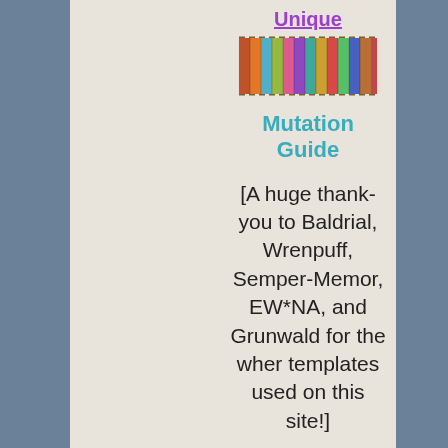Unique
[Figure (illustration): A row of colorful wher dragon images arranged side by side]
Mutation Guide
[A huge thank-you to Baldrial, Wrenpuff, Semper-Memor, EW*NA, and Grunwald for the wher templates used on this site!]
Last edited by Jabberwoky on Thu May 24, 2018 6:04 pm, edited 1 time in total